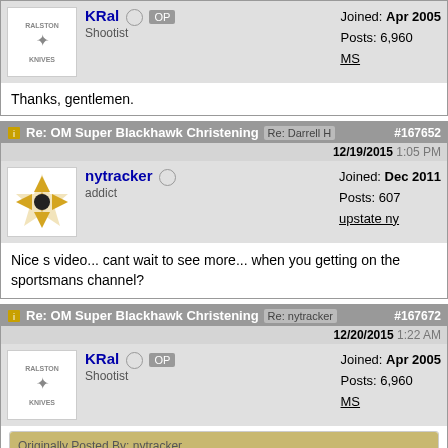Thanks, gentlemen.
Re: OM Super Blackhawk Christening  Re: Darrell H  #167652  12/19/2015 1:05 PM
nytracker  addict  Joined: Dec 2011  Posts: 607  upstate ny
Nice s video... cant wait to see more... when you getting on the sportsmans channel?
Re: OM Super Blackhawk Christening  Re: nytracker  #167672  12/20/2015 1:22 AM
KRal  OP  Shootist  Joined: Apr 2005  Posts: 6,960  MS
Originally Posted By: nytracker
Nice s video... cant wait to see more... when you getting on the sportsmans channel?